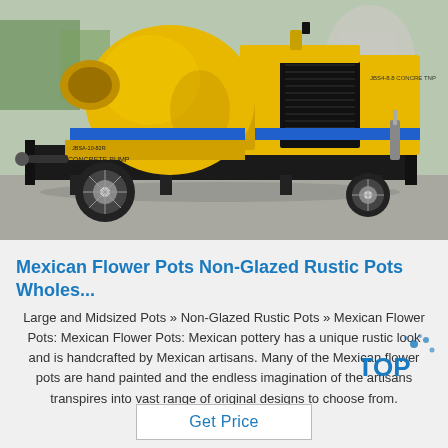[Figure (photo): Yellow concrete pump truck (JBSA-10-82R CONCRETE PUMP) parked on pavement, with large cylindrical yellow mixing drum on the left and a black radiator/engine compartment on the right. Blue stripe accent on the machine.]
Mexican Flower Pots Non-Glazed Rustic Pots Wholes...
Large and Midsized Pots » Non-Glazed Rustic Pots » Mexican Flower Pots: Mexican Flower Pots: Mexican pottery has a unique rustic look and is handcrafted by Mexican artisans. Many of the Mexican flower pots are hand painted and the endless imagination of the artisans transpires into vast range of original designs to choose from.
Get Price